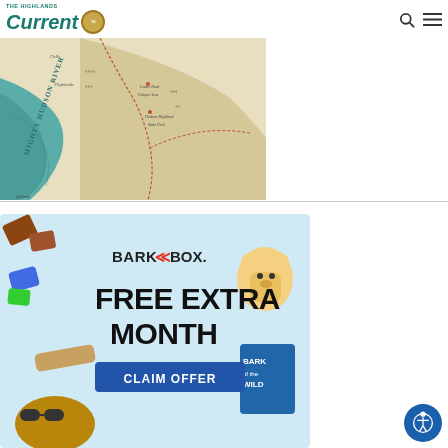The Highlands Current — logo with navigation icons
[Figure (map): Illustrated topographic/trail map showing the Mighty Hudson River area with trails, highlands, waterfalls label, Castle Rock Unique Area, Hudson Highlands State Park, and other landmarks.]
[Figure (advertisement): BarkBox advertisement showing 'FREE EXTRA MONTH' offer with 'CLAIM OFFER' button on blue background, surrounded by dog treats, toys, and a dog wearing glasses.]